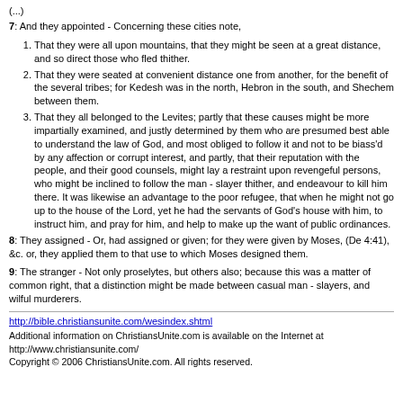(...)
7: And they appointed - Concerning these cities note,
That they were all upon mountains, that they might be seen at a great distance, and so direct those who fled thither.
That they were seated at convenient distance one from another, for the benefit of the several tribes; for Kedesh was in the north, Hebron in the south, and Shechem between them.
That they all belonged to the Levites; partly that these causes might be more impartially examined, and justly determined by them who are presumed best able to understand the law of God, and most obliged to follow it and not to be biass'd by any affection or corrupt interest, and partly, that their reputation with the people, and their good counsels, might lay a restraint upon revengeful persons, who might be inclined to follow the man - slayer thither, and endeavour to kill him there. It was likewise an advantage to the poor refugee, that when he might not go up to the house of the Lord, yet he had the servants of God's house with him, to instruct him, and pray for him, and help to make up the want of public ordinances.
8: They assigned - Or, had assigned or given; for they were given by Moses, (De 4:41), &c. or, they applied them to that use to which Moses designed them.
9: The stranger - Not only proselytes, but others also; because this was a matter of common right, that a distinction might be made between casual man - slayers, and wilful murderers.
http://bible.christiansunite.com/wesindex.shtml
Additional information on ChristiansUnite.com is available on the Internet at http://www.christiansunite.com/
Copyright © 2006 ChristiansUnite.com. All rights reserved.